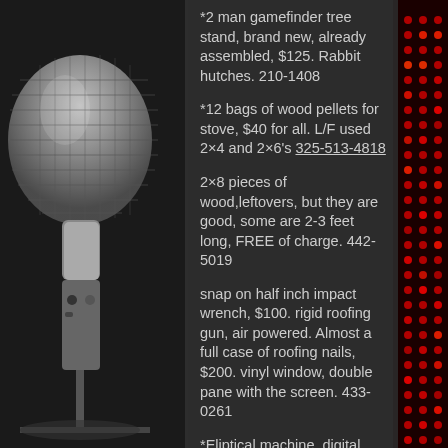*2 man gamefinder tree stand, brand new, already assembled, $125. Rabbit hutches. 210-1408
*12 bags of wood pellets for stove, $40 for all. L/F used 2×4 and 2×6's 325-513-4818
2×8 pieces of wood,leftovers, but they are good, some are 2-3 feet long, FREE of charge. 442-5019
snap on half inch impact wrench, $100. rigid roofing gun, air powered. Almost a full case of roofing nails, $200. vinyl window, double pane with the screen. 433-0261
*Eliptical machine, digital display, multi tension settings, $175. extra motor $10. 488-1819
*Waverunners on a trailer, 5 foot...